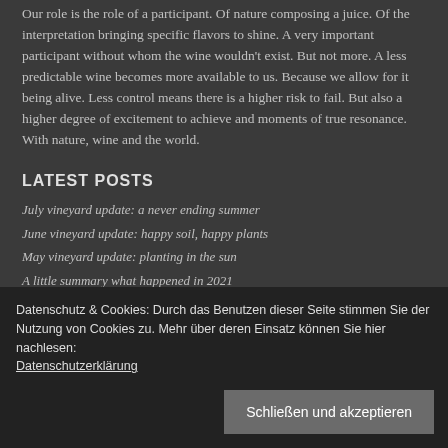Our role is the role of a participant. Of nature composing a juice. Of the interpretation bringing specific flavors to shine. A very important participant without whom the wine wouldn’t exist. But not more. A less predictable wine becomes more available to us. Because we allow for it being alive. Less control means there is a higher risk to fail. But also a higher degree of excitement to achieve and moments of true resonance. With nature, wine and the world.
LATEST POSTS
July vineyard update: a never ending summer
June vineyard update: happy soil, happy plants
May vineyard update: planting in the sun
A little summary what happened in 2021
Harvest 2021: small, long and strong
Datenschutz & Cookies: Durch das Benutzen dieser Seite stimmen Sie der Nutzung von Cookies zu. Mehr über deren Einsatz können Sie hier nachlesen: Datenschutzerklärung
Schließen und akzeptieren